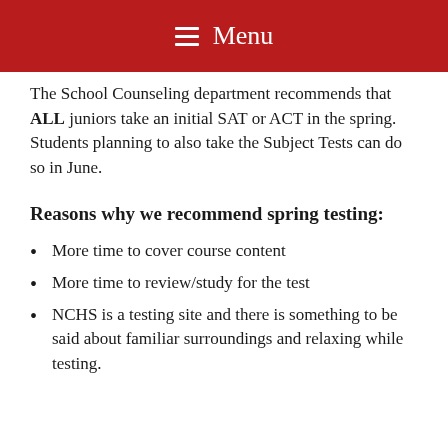Menu
The School Counseling department recommends that ALL juniors take an initial SAT or ACT in the spring. Students planning to also take the Subject Tests can do so in June.
Reasons why we recommend spring testing:
More time to cover course content
More time to review/study for the test
NCHS is a testing site and there is something to be said about familiar surroundings and relaxing while testing.